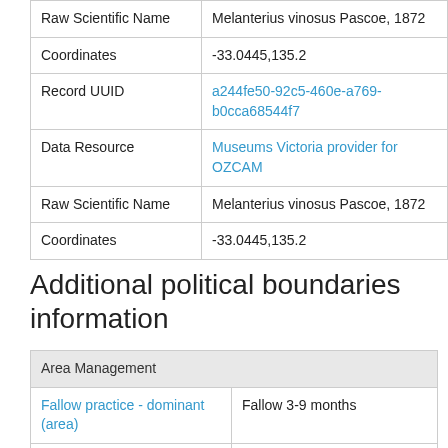| Field | Value |
| --- | --- |
| Raw Scientific Name | Melanterius vinosus Pascoe, 1872 |
| Coordinates | -33.0445,135.2 |
| Record UUID | a244fe50-92c5-460e-a769-b0cca68544f7 |
| Data Resource | Museums Victoria provider for OZCAM |
| Raw Scientific Name | Melanterius vinosus Pascoe, 1872 |
| Coordinates | -33.0445,135.2 |
Additional political boundaries information
| Area Management |  |
| --- | --- |
| Fallow practice - dominant (area) | Fallow 3-9 months |
| Fallow practice - dominant (number) | Fallow 3-9 months |
| Global 200 priority | Southern Australian Marine |